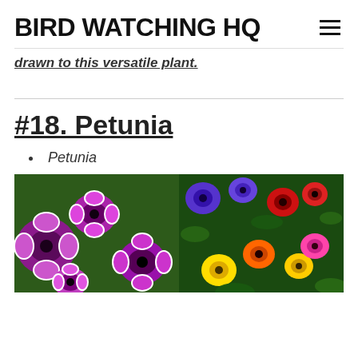BIRD WATCHING HQ
drawn to this versatile plant.
#18. Petunia
Petunia
[Figure (photo): Two side-by-side photos of petunia flowers. Left: bright magenta/purple petunias with white edges on a green background. Right: colorful mix of purple, red, yellow, and pink flowers on green foliage.]